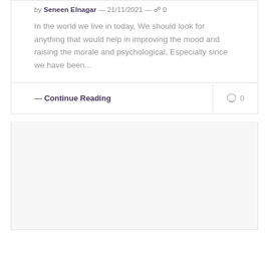by Seneen Elnagar — 21/11/2021 — 0
In the world we live in today, We should look for anything that would help in improving the mood and raising the morale and psychological, Especially since we have been...
— Continue Reading   0
[Figure (other): Empty light gray content area placeholder below the article card]